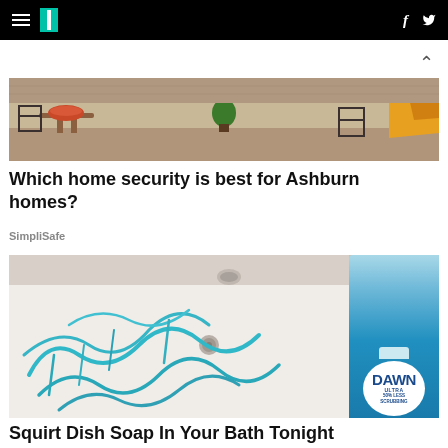HuffPost navigation with hamburger menu, logo, Facebook and Twitter icons
[Figure (photo): Outdoor patio or rooftop scene with furniture, plants, and colorful objects — advertisement for home security]
Which home security is best for Ashburn homes?
SimpliSafe
[Figure (photo): Person holding a Dawn Ultra dish soap bottle (50% Less Scrubbing) over a bathtub with blue soap squiggles]
Squirt Dish Soap In Your Bath Tonight